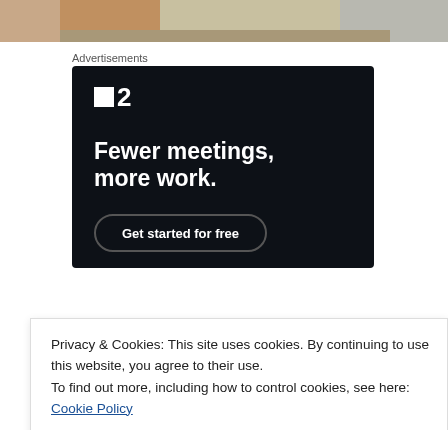[Figure (photo): Partial photo strip at the top of the page showing people in patterned clothing]
Advertisements
[Figure (other): Advertisement for a product with logo showing a square icon and '2', headline reading 'Fewer meetings, more work.' and a 'Get started for free' button on a dark navy background]
Privacy & Cookies: This site uses cookies. By continuing to use this website, you agree to their use.
To find out more, including how to control cookies, see here: Cookie Policy
Close and accept